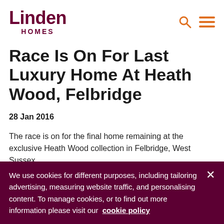Linden Homes
Race Is On For Last Luxury Home At Heath Wood, Felbridge
28 Jan 2016
The race is on for the final home remaining at the exclusive Heath Wood collection in Felbridge, West Sussex.
We use cookies for different purposes, including tailoring advertising, measuring website traffic, and personalising content. To manage cookies, or to find out more information please visit our cookie policy